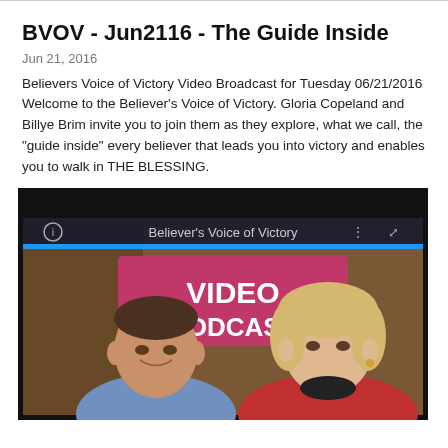BVOV - Jun2116 - The Guide Inside
Jun 21, 2016
Believers Voice of Victory Video Broadcast for Tuesday 06/21/2016 Welcome to the Believer's Voice of Victory. Gloria Copeland and Billye Brim invite you to join them as they explore, what we call, the "guide inside" every believer that leads you into victory and enables you to walk in THE BLESSING.
[Figure (screenshot): Video podcast player screenshot showing two people (a man and a woman) with overlay text 'VIDEO PODCAST' and 'Believer's Voice of Victory' header bar with icons.]